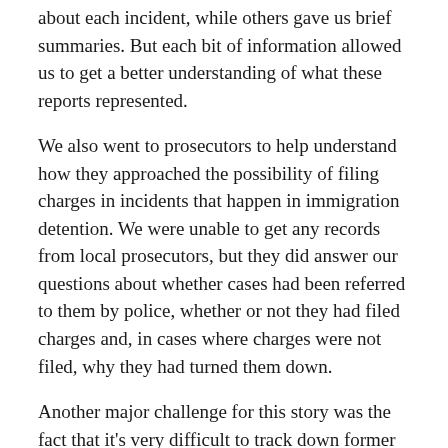about each incident, while others gave us brief summaries. But each bit of information allowed us to get a better understanding of what these reports represented.
We also went to prosecutors to help understand how they approached the possibility of filing charges in incidents that happen in immigration detention. We were unable to get any records from local prosecutors, but they did answer our questions about whether cases had been referred to them by police, whether or not they had filed charges and, in cases where charges were not filed, why they had turned them down.
Another major challenge for this story was the fact that it's very difficult to track down former immigration detainees. There is very little information publicly available about people who are detained. In most cases, if reporters want to ask immigration officials about the status of a detainee or former detainee, they must already have that person's name, date of birth and their A-number, which is used to identify them in detention. At the same time, many former detainees have been